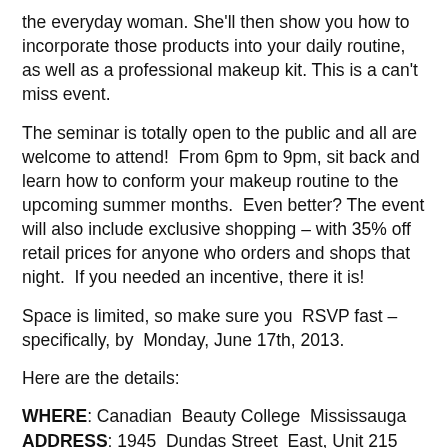the everyday woman. She'll then show you how to incorporate those products into your daily routine, as well as a professional makeup kit. This is a can't miss event.
The seminar is totally open to the public and all are welcome to attend!  From 6pm to 9pm, sit back and learn how to conform your makeup routine to the upcoming summer months.  Even better? The event will also include exclusive shopping – with 35% off retail prices for anyone who orders and shops that night.  If you needed an incentive, there it is!
Space is limited, so make sure you  RSVP fast – specifically, by  Monday, June 17th, 2013.
Here are the details:
WHERE: Canadian  Beauty College  Mississauga
ADDRESS: 1945  Dundas Street  East, Unit 215
TIME: 6pm to 9pm
RSVP: jennm@canadianbeautycollege.com or